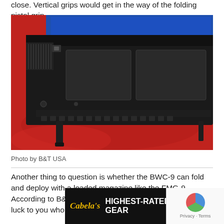close. Vertical grips would get in the way of the folding pistol grip.
[Figure (photo): Close-up photo of a black tactical firearm (BWC-9) lying on a red cloth/fabric surface, showing the underside with picatinny rail, rectangular panels, and a vertical grip stub. Blue screen visible at top.]
Photo by B&T USA
Another thing to question is whether the BWC-9 can fold and deploy with a loaded magazine like the FMG-9. According to B&T USA, this will be a limited run so best of luck to you who want one.
[Figure (other): Cabela's advertisement banner: HIGHEST-RATED GEAR with 4.2 star rating and product icons on dark background, with reCAPTCHA widget on the right]